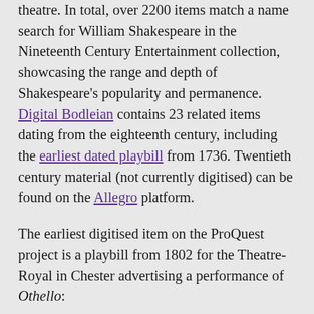theatre. In total, over 2200 items match a name search for William Shakespeare in the Nineteenth Century Entertainment collection, showcasing the range and depth of Shakespeare's popularity and permanence. Digital Bodleian contains 23 related items dating from the eighteenth century, including the earliest dated playbill from 1736. Twentieth century material (not currently digitised) can be found on the Allegro platform.

The earliest digitised item on the ProQuest project is a playbill from 1802 for the Theatre-Royal in Chester advertising a performance of Othello: